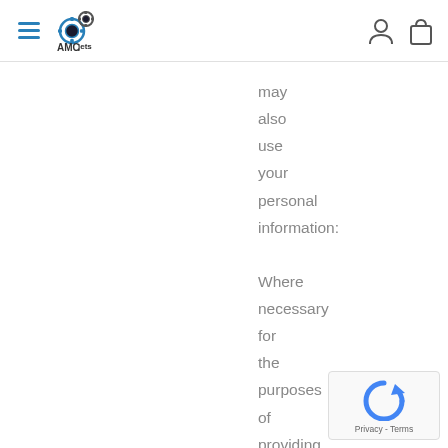AMCjets navigation header with logo and icons
may also use your personal information:

Where necessary for the purposes of providing you with our goods